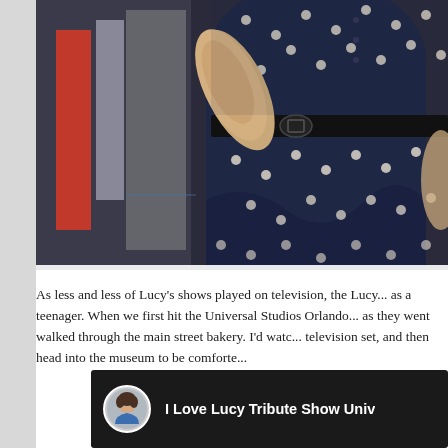[Figure (photo): Close-up photo of a mannequin torso wearing a dark navy/black polka dot dress with a black belt, displayed in what appears to be a retail or museum setting with red and white display elements visible in the background.]
As less and less of Lucy's shows played on television, the Lucy... as a teenager. When we first hit the Universal Studios Orlando... as they went walked through the main street bakery. I'd watc... television set, and then head into the museum to be comforte...
[Figure (screenshot): Video thumbnail showing a YouTube-style interface with a circular avatar of a person and the text 'I Love Lucy Tribute Show Univ' on a dark background, with a partial cursive Lu... visible at the bottom right.]